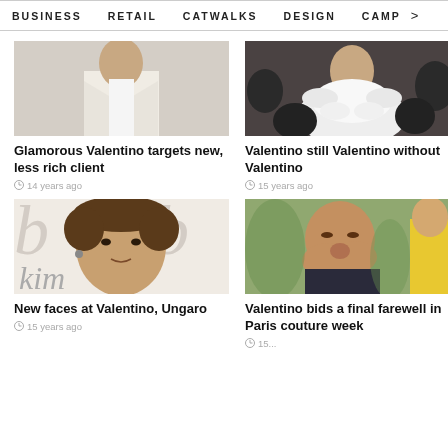BUSINESS   RETAIL   CATWALKS   DESIGN   CAMP >
[Figure (photo): Man in white suit with dark tie standing against a wall]
Glamorous Valentino targets new, less rich client
14 years ago
[Figure (photo): Fashion model wearing white ruffled collar top against dark background]
Valentino still Valentino without Valentino
15 years ago
[Figure (photo): Young man with curly hair posing at an event with signage in background]
New faces at Valentino, Ungaro
15 years ago
[Figure (photo): Older man blowing a kiss, woman in yellow bikini top visible in background]
Valentino bids a final farewell in Paris couture week
15...